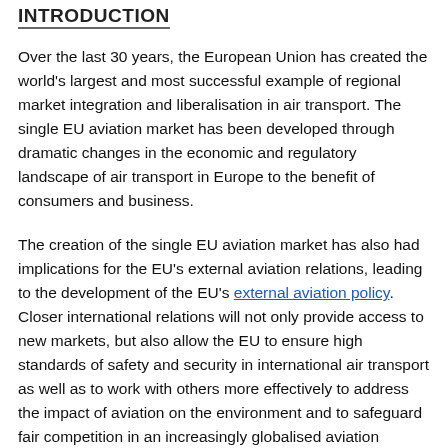INTRODUCTION
Over the last 30 years, the European Union has created the world's largest and most successful example of regional market integration and liberalisation in air transport. The single EU aviation market has been developed through dramatic changes in the economic and regulatory landscape of air transport in Europe to the benefit of consumers and business.
The creation of the single EU aviation market has also had implications for the EU's external aviation relations, leading to the development of the EU's external aviation policy. Closer international relations will not only provide access to new markets, but also allow the EU to ensure high standards of safety and security in international air transport as well as to work with others more effectively to address the impact of aviation on the environment and to safeguard fair competition in an increasingly globalised aviation market.